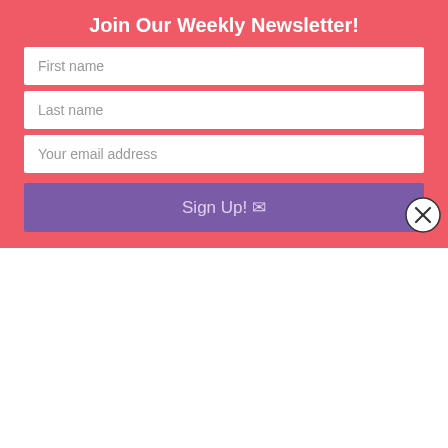Join Our Weekly Newsletter!
First name
Last name
Your email address
Sign Up! ✉
[Figure (photo): A collage of many overlapping photographs including people, landscapes, and objects scattered in a pile]
Organizations is somewhere between minimal and better-than-expected, but using the site on a regular basis has fundamentally changed how I think about social media and the people who use it. In the same way that Twitter forced me to rethink online messaging in 2008 and onward, Pinterest has made it abundantly clear that expecting our online supporters and donors to read